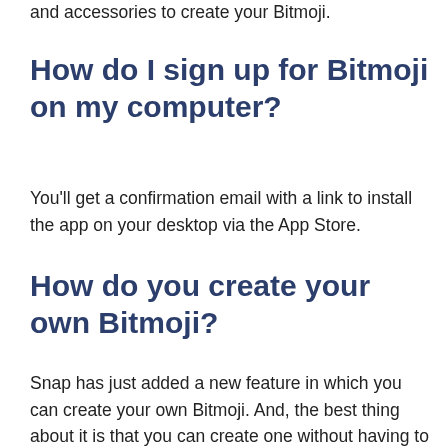and accessories to create your Bitmoji.
How do I sign up for Bitmoji on my computer?
You'll get a confirmation email with a link to install the app on your desktop via the App Store.
How do you create your own Bitmoji?
Snap has just added a new feature in which you can create your own Bitmoji. And, the best thing about it is that you can create one without having to sign in to your Snapchat account.